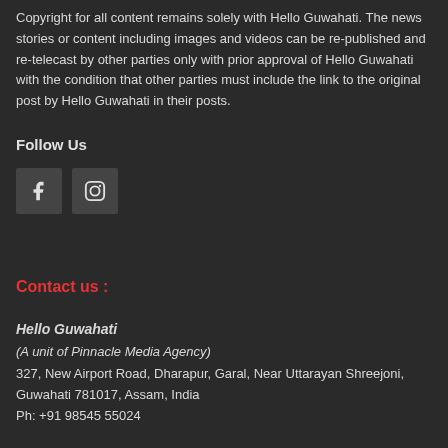Copyright for all content remains solely with Hello Guwahati. The news stories or content including images and videos can be re-published and re-telecast by other parties only with prior approval of Hello Guwahati with the condition that other parties must include the link to the original post by Hello Guwahati in their posts.
Follow Us
[Figure (illustration): Two social media icon buttons: Facebook (f) and Instagram (camera icon), dark grey square buttons on dark background]
Contact us :
Hello Guwahati
(A unit of Pinnacle Media Agency)
327, New Airport Road, Dharapur, Garal, Near Uttarayan Shreejoni, Guwahati 781017, Assam, India
Ph: +91 98545 55024